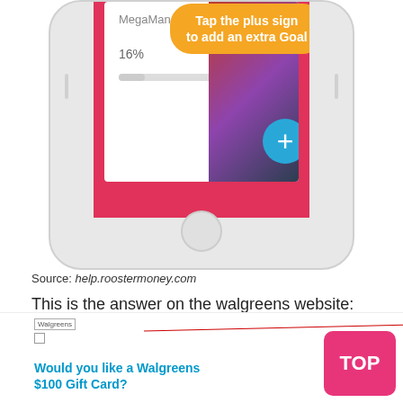[Figure (screenshot): Partial screenshot of a smartphone (iPhone-style) showing a savings goal app (RoosterMoney) with a MegaMan Figure item at 16% progress toward £39.99, a yellow tooltip bubble saying 'Tap the plus sign to add an extra Goal', a blue plus button, and a product image. The phone has a home button at the bottom.]
Source: help.roostermoney.com
This is the answer on the walgreens website: Once it starts to shake, you'll see an x mark at the top of the app icon.
[Figure (screenshot): Partial screenshot of a Walgreens website popup/overlay showing 'Would you like a Walgreens $100 Gift Card?' in teal/cyan text, with a Walgreens logo, and a red arrow annotation pointing to something. A pink 'TOP' button appears in the bottom right corner.]